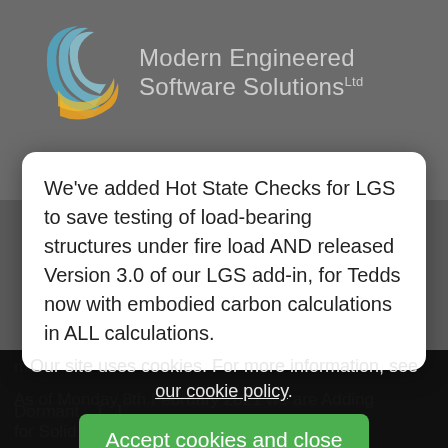[Figure (logo): Modern Engineered Software Solutions Ltd logo with swirling blue and orange wave lines on the left, and company name text on the right]
We've added Hot State Checks for LGS to save testing of load-bearing structures under fire load AND released Version 3.0 of our LGS add-in, for Tedds now with embodied carbon calculations in ALL calculations.
Our site uses cookies. For more information, see our cookie policy.
Accept cookies and close
Reject cookies
Manage settings